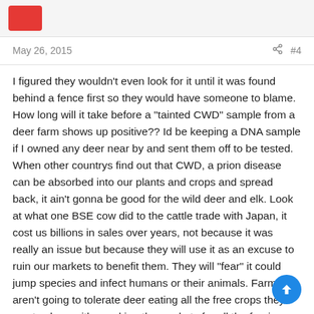May 26, 2015   #4
I figured they wouldn't even look for it until it was found behind a fence first so they would have someone to blame. How long will it take before a "tainted CWD" sample from a deer farm shows up positive?? Id be keeping a DNA sample if I owned any deer near by and sent them off to be tested. When other countrys find out that CWD, a prion disease can be absorbed into our plants and crops and spread back, it ain't gonna be good for the wild deer and elk. Look at what one BSE cow did to the cattle trade with Japan, it cost us billions in sales over years, not because it was really an issue but because they will use it as an excuse to ruin our markets to benefit them. They will "fear" it could jump species and infect humans or their animals. Farmers aren't going to tolerate deer eating all the free crops they wants along with wrecking the markets for all the foreign markets we need to survive.